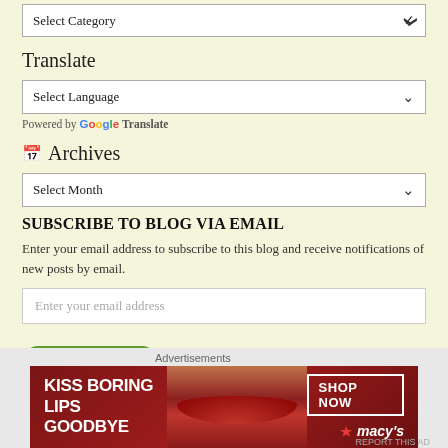[Figure (screenshot): Select Category dropdown box at top of page]
Translate
[Figure (screenshot): Select Language dropdown box]
Powered by Google Translate
Archives
[Figure (screenshot): Select Month dropdown box]
SUBSCRIBE TO BLOG VIA EMAIL
Enter your email address to subscribe to this blog and receive notifications of new posts by email.
[Figure (screenshot): Email address input field and SUBSCRIBE button]
[Figure (advertisement): Macy's advertisement banner: KISS BORING LIPS GOODBYE with SHOP NOW button and Macy's logo]